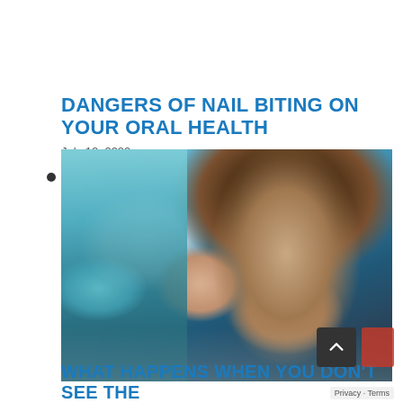DANGERS OF NAIL BITING ON YOUR ORAL HEALTH
July 12, 2022
[Figure (photo): A worried young woman with curly dark hair sitting in a dental chair, holding her cheek in pain, while a dentist in a mask and teal scrubs holds dental tools near her mouth. Dental equipment visible in the background.]
WHAT HAPPENS WHEN YOU DON'T SEE THE